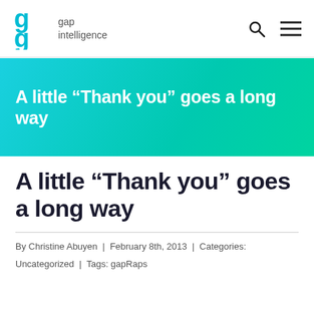gap intelligence
[Figure (illustration): Gap Intelligence logo — teal stylized 'g' lettermark with 'gap intelligence' wordmark text beside it; search icon and hamburger menu icon on the right]
A little “Thank you” goes a long way
A little “Thank you” goes a long way
By Christine Abuyen | February 8th, 2013 | Categories:
Uncategorized | Tags: gapRaps